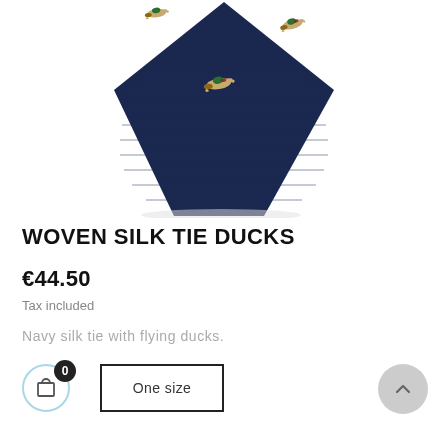[Figure (photo): Navy blue woven silk tie with flying duck motifs, photographed diagonally against a white background.]
WOVEN SILK TIE DUCKS
€44.50
Tax included
Navy silk tie with flying ducks.
[Figure (other): Shopping cart icon button with badge showing 0, One size selector button, and scroll-to-top arrow button.]